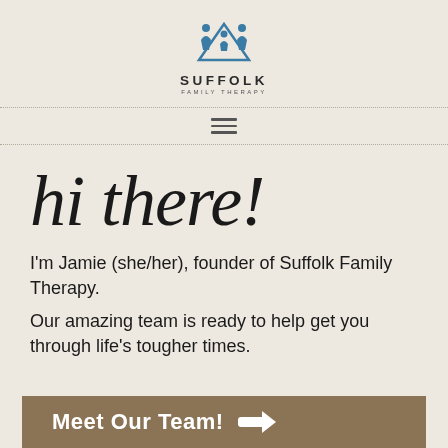[Figure (logo): Suffolk Family Therapy logo with stylized figures icon above the text SUFFOLK FAMILY THERAPY]
hi there!
I'm Jamie (she/her), founder of Suffolk Family Therapy.
Our amazing team is ready to help get you through life's tougher times.
Meet Our Team! →